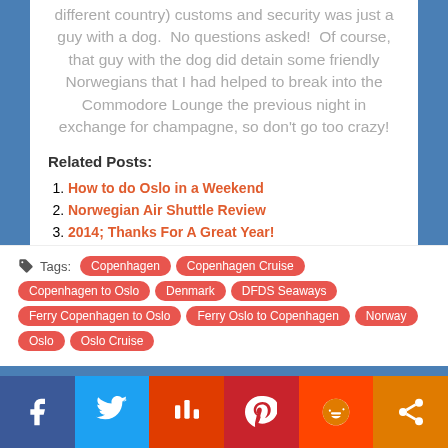different country) customs and security was just a guy with a dog. No questions asked! Of course, that guy with the dog did detain some friendly Norwegians that I had helped to break into the Commodore Lounge the previous night in exchange for champagne, so don't go too crazy!
Related Posts:
How to do Oslo in a Weekend
Norwegian Air Shuttle Review
2014; Thanks For A Great Year!
Norwegian Air Shuttle Offers Cheap Direct Flights to Scandinavia? Sign me up!!
Tags: Copenhagen, Copenhagen Cruise, Copenhagen to Oslo, Denmark, DFDS Seaways, Ferry Copenhagen to Oslo, Ferry Oslo to Copenhagen, Norway, Oslo, Oslo Cruise